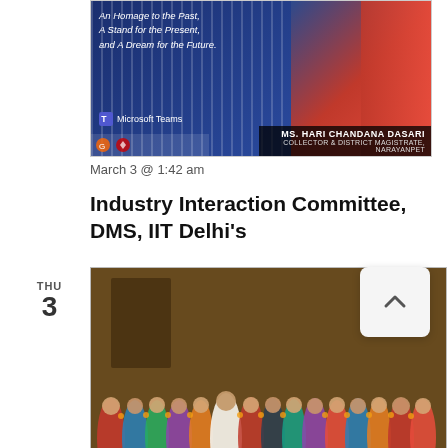[Figure (photo): Event banner featuring MS. Hari Chandana Dasari, Collector & District Magistrate, Narayanpet. Text reads: An Homage to the Past, A Stand for the Present, and A Dream for the Future. Microsoft Teams logo visible. Blue and red background.]
March 3 @ 1:42 am
Industry Interaction Committee, DMS, IIT Delhi's
[Figure (photo): Group photo of women giving thumbs up, taken indoors. A woman in a white saree stands in the center among a large group of women in colorful traditional attire.]